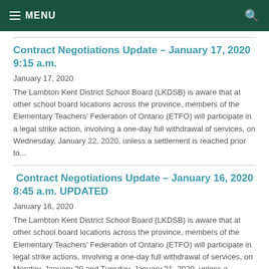MENU
Contract Negotiations Update – January 17, 2020 9:15 a.m.
January 17, 2020
The Lambton Kent District School Board (LKDSB) is aware that at other school board locations across the province, members of the Elementary Teachers' Federation of Ontario (ETFO) will participate in a legal strike action, involving a one-day full withdrawal of services, on Wednesday, January 22, 2020, unless a settlement is reached prior to...
Contract Negotiations Update – January 16, 2020 8:45 a.m. UPDATED
January 16, 2020
The Lambton Kent District School Board (LKDSB) is aware that at other school board locations across the province, members of the Elementary Teachers' Federation of Ontario (ETFO) will participate in legal strike actions, involving a one-day full withdrawal of services, on Monday, January 20 and Tuesday, January 21, 2020, unless a...